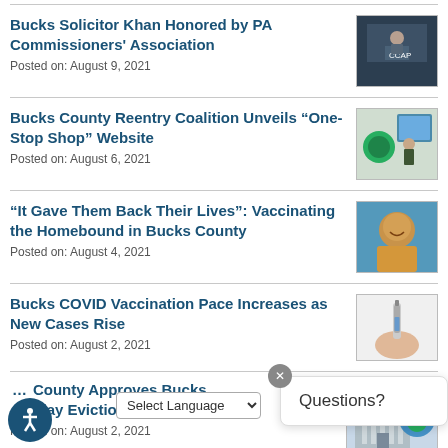Bucks Solicitor Khan Honored by PA Commissioners' Association
Posted on: August 9, 2021
[Figure (photo): Man speaking at a podium with CCAP sign, dark background]
Bucks County Reentry Coalition Unveils “One-Stop Shop” Website
Posted on: August 6, 2021
[Figure (photo): Person presenting near a green emblem, indoors]
“It Gave Them Back Their Lives”: Vaccinating the Homebound in Bucks County
Posted on: August 4, 2021
[Figure (photo): Smiling person in yellow/orange top against blue background]
Bucks COVID Vaccination Pace Increases as New Cases Rise
Posted on: August 2, 2021
[Figure (photo): Hand holding a vaccine vial/syringe]
... County Approves Bucks ...delay Evictions
Posted on: August 2, 2021
[Figure (photo): Government building with county map logo overlay]